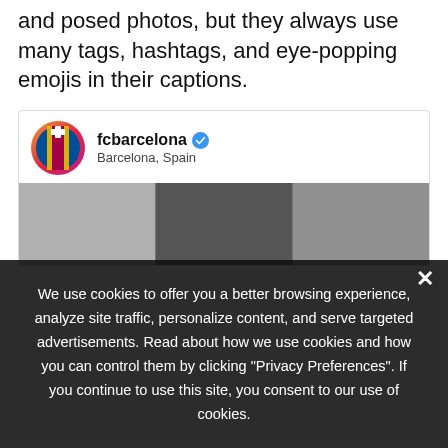and posed photos, but they always use many tags, hashtags, and eye-popping emojis in their captions.
[Figure (screenshot): Instagram post preview card showing fcbarcelona account header with FC Barcelona logo, verified badge, location Barcelona Spain, and a partial image strip with crowd photos]
We use cookies to offer you a better browsing experience, analyze site traffic, personalize content, and serve targeted advertisements. Read about how we use cookies and how you can control them by clicking "Privacy Preferences". If you continue to use this site, you consent to our use of cookies.
❯ Privacy Preferences
I Agree